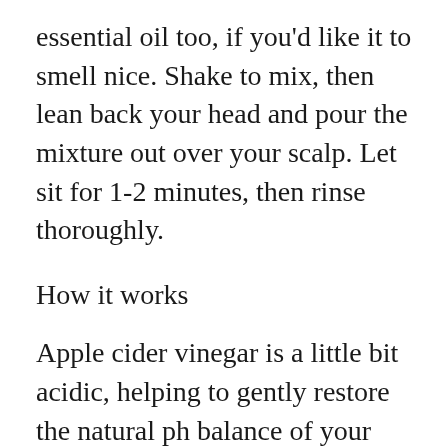essential oil too, if you'd like it to smell nice. Shake to mix, then lean back your head and pour the mixture out over your scalp. Let sit for 1-2 minutes, then rinse thoroughly.
How it works
Apple cider vinegar is a little bit acidic, helping to gently restore the natural ph balance of your hair. It's anti-viral and anti-bacterial as well, helping to clear up any small infections before they get started. Although there are